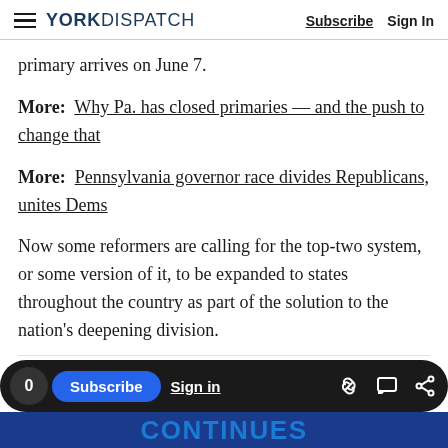YORK DISPATCH — Subscribe | Sign In
primary arrives on June 7.
More: Why Pa. has closed primaries — and the push to change that
More: Pennsylvania governor race divides Republicans, unites Dems
Now some reformers are calling for the top-two system, or some version of it, to be expanded to states throughout the country as part of the solution to the nation's deepening division.
Advertisement